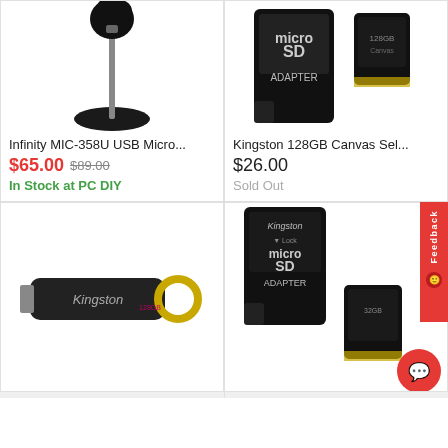[Figure (photo): Infinity MIC-358U USB microphone on a stand with black base]
Infinity MIC-358U USB Micro...
$65.00 $89.00
In Stock at PC DIY
[Figure (photo): Kingston 128GB microSD card with adapter]
Kingston 128GB Canvas Sel...
$26.00
Sold Out
[Figure (photo): Kingston USB flash drive, black and gold]
[Figure (photo): Kingston 32GB microSD card with adapter]